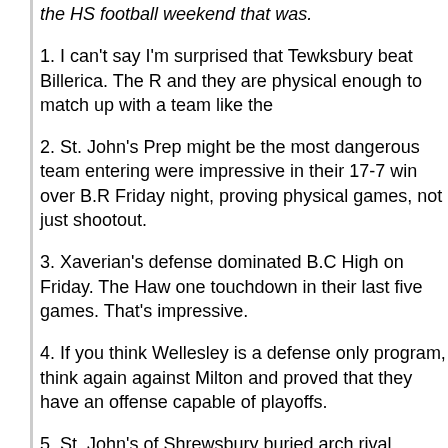the HS football weekend that was.
1. I can't say I'm surprised that Tewksbury beat Billerica. The R and they are physical enough to match up with a team like the
2. St. John's Prep might be the most dangerous team entering were impressive in their 17-7 win over B.R Friday night, proving physical games, not just shootout.
3. Xaverian's defense dominated B.C High on Friday. The Haw one touchdown in their last five games. That's impressive.
4. If you think Wellesley is a defense only program, think again against Milton and proved that they have an offense capable of playoffs.
5. St. John's of Shrewsbury buried arch rival Leominster on Sa Blue Devils have been inconsistent all season long, and that in with them against the Pioneers.
6. Everett at Haverhill will be the best match-up of the weekend playoffs. We'll find if the Hillies are for real and if they have arriv